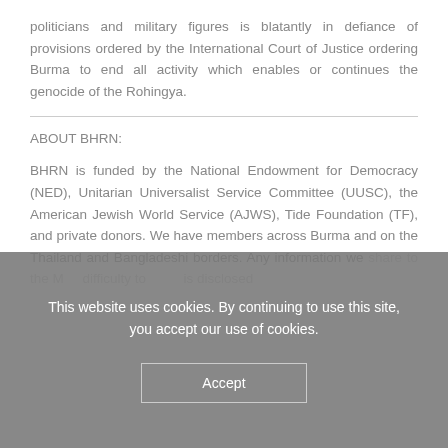politicians and military figures is blatantly in defiance of provisions ordered by the International Court of Justice ordering Burma to end all activity which enables or continues the genocide of the Rohingya.
ABOUT BHRN:
BHRN is funded by the National Endowment for Democracy (NED), Unitarian Universalist Service Committee (UUSC), the American Jewish World Service (AJWS), Tide Foundation (TF), and private donors. We have members across Burma and on the Thailand and Bangladeshi borders. Any information we share…
This website uses cookies. By continuing to use this site, you accept our use of cookies.